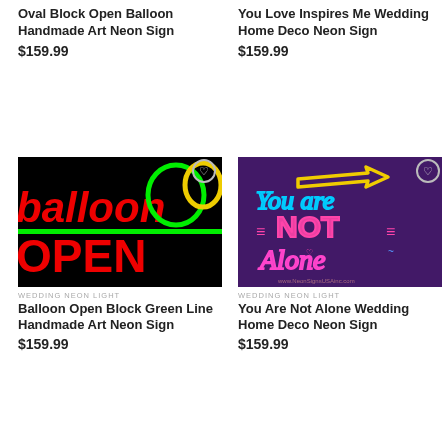Oval Block Open Balloon Handmade Art Neon Sign
$159.99
You Love Inspires Me Wedding Home Deco Neon Sign
$159.99
[Figure (photo): Neon sign showing 'balloon' and 'OPEN' text in red on black background with green circle and line accents. Heart wishlist button visible.]
[Figure (photo): Neon sign on purple brick wall showing 'You are NOT Alone' in blue, pink, yellow neon lights. Heart wishlist button visible.]
WEDDING NEON LIGHT
Balloon Open Block Green Line Handmade Art Neon Sign
$159.99
WEDDING NEON LIGHT
You Are Not Alone Wedding Home Deco Neon Sign
$159.99